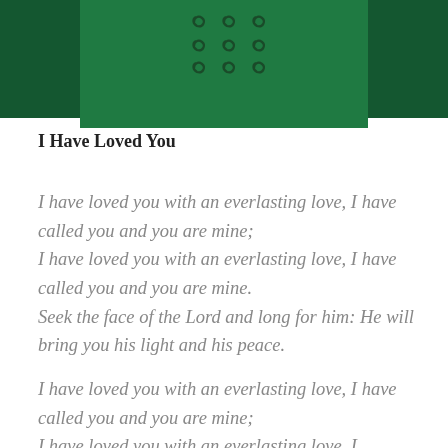[Figure (illustration): Green banner header with darker side panels and decorative spiral/Celtic knot symbols in the center]
I Have Loved You
I have loved you with an everlasting love, I have called you and you are mine;
I have loved you with an everlasting love, I have called you and you are mine.
Seek the face of the Lord and long for him: He will bring you his light and his peace.
I have loved you with an everlasting love, I have called you and you are mine;
I have loved you with an everlasting love, I